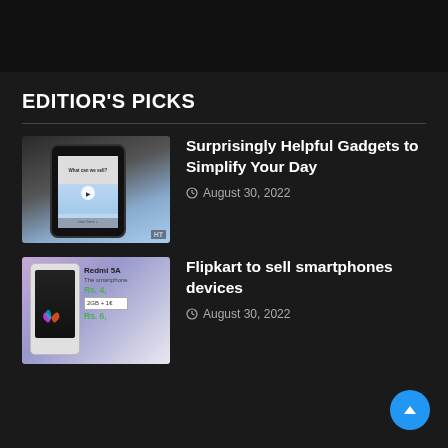EDITIOR'S PICKS
[Figure (photo): Hand holding a smartphone showing a video screen with 'What can we sell?' text and play button]
Surprisingly Helpful Gadgets to Simplify Your Day
August 30, 2022
[Figure (photo): Redmi 5A smartphone advertisement showing phone with price Rs. 4,999 and 2GB+16GB variant, also Rs. 6,999]
Flipkart to sell smartphones devices
August 30, 2022